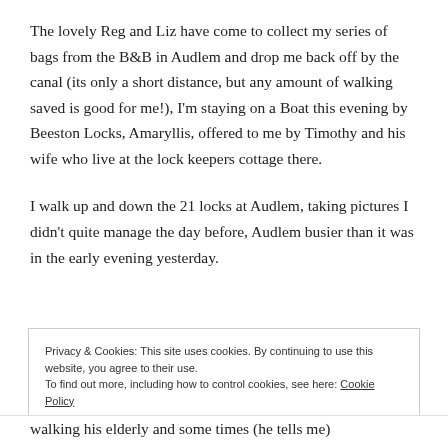The lovely Reg and Liz have come to collect my series of bags from the B&B in Audlem and drop me back off by the canal (its only a short distance, but any amount of walking saved is good for me!), I'm staying on a Boat this evening by Beeston Locks, Amaryllis, offered to me by Timothy and his wife who live at the lock keepers cottage there.
I walk up and down the 21 locks at Audlem, taking pictures I didn't quite manage the day before, Audlem busier than it was in the early evening yesterday.
Privacy & Cookies: This site uses cookies. By continuing to use this website, you agree to their use.
To find out more, including how to control cookies, see here: Cookie Policy
Close and accept
walking his elderly and some times (he tells me)